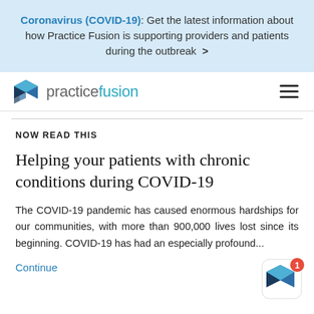Coronavirus (COVID-19): Get the latest information about how Practice Fusion is supporting providers and patients during the outbreak >
[Figure (logo): Practice Fusion logo with stylized blue cube icon and text 'practice fusion']
NOW READ THIS
Helping your patients with chronic conditions during COVID-19
The COVID-19 pandemic has caused enormous hardships for our communities, with more than 900,000 lives lost since its beginning. COVID-19 has had an especially profound...
Continue